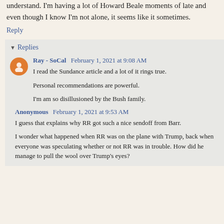understand. I'm having a lot of Howard Beale moments of late and even though I know I'm not alone, it seems like it sometimes.
Reply
Replies
Ray - SoCal  February 1, 2021 at 9:08 AM
I read the Sundance article and a lot of it rings true.

Personal recommendations are powerful.

I'm am so disillusioned by the Bush family.
Anonymous  February 1, 2021 at 9:53 AM
I guess that explains why RR got such a nice sendoff from Barr.

I wonder what happened when RR was on the plane with Trump, back when everyone was speculating whether or not RR was in trouble. How did he manage to pull the wool over Trump's eyes?